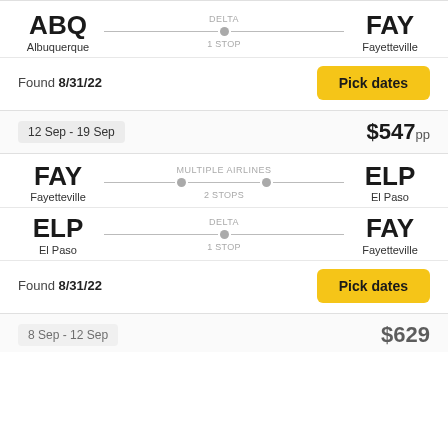ABQ Albuquerque — DELTA 1 STOP — FAY Fayetteville
Found 8/31/22
Pick dates
12 Sep - 19 Sep  $547pp
FAY Fayetteville — MULTIPLE AIRLINES 2 STOPS — ELP El Paso
ELP El Paso — DELTA 1 STOP — FAY Fayetteville
Found 8/31/22
Pick dates
8 Sep - 12 Sep  $629